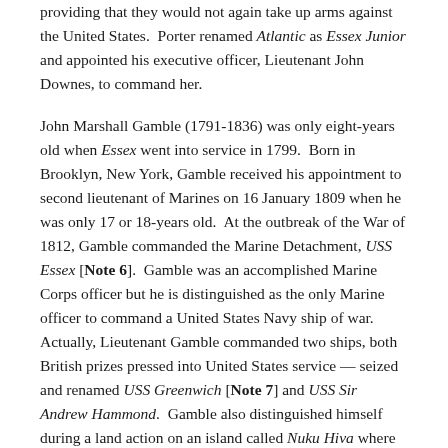providing that they would not again take up arms against the United States.  Porter renamed Atlantic as Essex Junior and appointed his executive officer, Lieutenant John Downes, to command her.
John Marshall Gamble (1791-1836) was only eight-years old when Essex went into service in 1799.  Born in Brooklyn, New York, Gamble received his appointment to second lieutenant of Marines on 16 January 1809 when he was only 17 or 18-years old.  At the outbreak of the War of 1812, Gamble commanded the Marine Detachment, USS Essex [Note 6].  Gamble was an accomplished Marine Corps officer but he is distinguished as the only Marine officer to command a United States Navy ship of war.  Actually, Lieutenant Gamble commanded two ships, both British prizes pressed into United States service — seized and renamed USS Greenwich [Note 7] and USS Sir Andrew Hammond.  Gamble also distinguished himself during a land action on an island called Nuku Hiva where Captain David Porter established the first US Navy Base in the Pacific Ocean.